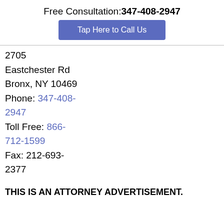Free Consultation: 347-408-2947
[Figure (other): Blue button with white text: Tap Here to Call Us]
2705
Eastchester Rd
Bronx, NY 10469
Phone: 347-408-2947
Toll Free: 866-712-1599
Fax: 212-693-2377
THIS IS AN ATTORNEY ADVERTISEMENT.